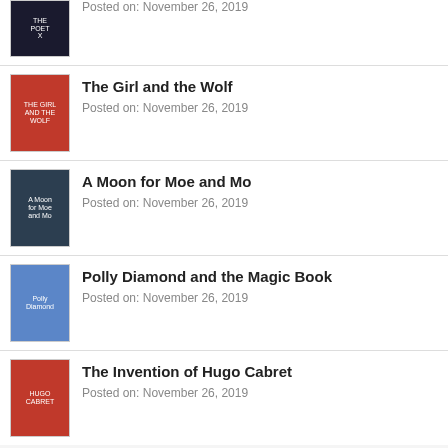Posted on: November 26, 2019
The Girl and the Wolf
Posted on: November 26, 2019
A Moon for Moe and Mo
Posted on: November 26, 2019
Polly Diamond and the Magic Book
Posted on: November 26, 2019
The Invention of Hugo Cabret
Posted on: November 26, 2019